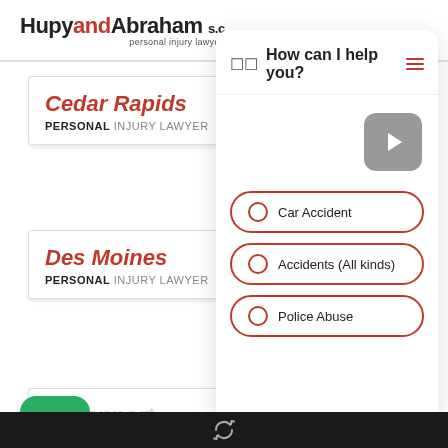[Figure (screenshot): HupyandAbraham personal injury lawyers website screenshot with chatbot overlay showing location cards for Cedar Rapids, Des Moines, and Davenport, and a chat panel with options: Car Accident, Accidents (All kinds), Police Abuse]
HupyandAbraham s.c. personal injury lawyers
Cedar Rapids PERSONAL INJURY LAWYER
Des Moines PERSONAL INJURY LAWYER
Davenport PERSONAL INJURY LAWYER
How can I help you?
Car Accident
Accidents (All kinds)
Police Abuse